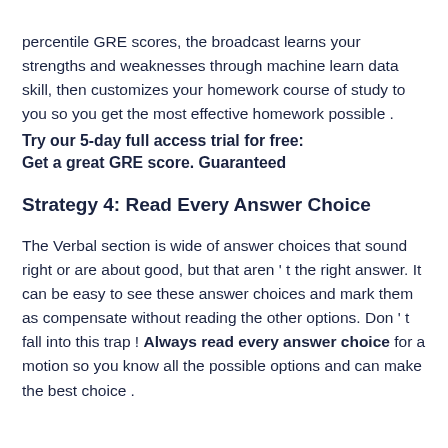percentile GRE scores, the broadcast learns your strengths and weaknesses through machine learn data skill, then customizes your homework course of study to you so you get the most effective homework possible .
Try our 5-day full access trial for free:
Get a great GRE score. Guaranteed
Strategy 4: Read Every Answer Choice
The Verbal section is wide of answer choices that sound right or are about good, but that aren ' t the right answer. It can be easy to see these answer choices and mark them as compensate without reading the other options. Don ' t fall into this trap ! Always read every answer choice for a motion so you know all the possible options and can make the best choice .